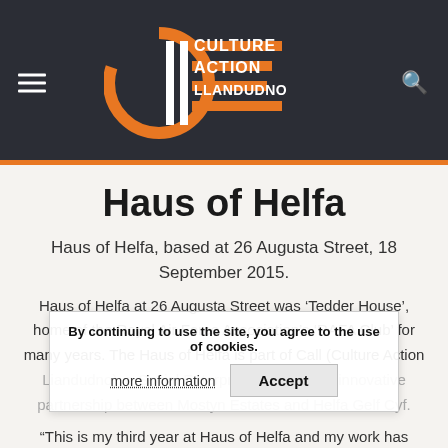[Figure (logo): Culture Action Llandudno logo with orange and white text on dark background]
Haus of Helfa
Haus of Helfa, based at 26 Augusta Street, 18 September 2015.
Haus of Helfa at 26 Augusta Street was ‘Tedder House’, home of the Royal Air Force Association’s ‘RAFA Club’ for many years. The Haus of Helfa is part of Call (Culture Action Liandudno), a Social Enterprise, which is an innovative partnership between Mostyn Estates and Helfa Gelf Cyf.
“This is my third year at Haus of Helfa and my work has been
By continuing to use the site, you agree to the use of cookies.
more information   Accept